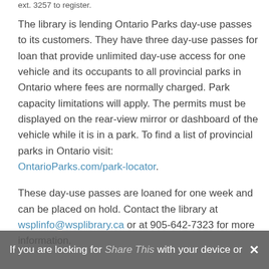ext. 3257 to register.
The library is lending Ontario Parks day-use passes to its customers. They have three day-use passes for loan that provide unlimited day-use access for one vehicle and its occupants to all provincial parks in Ontario where fees are normally charged. Park capacity limitations will apply. The permits must be displayed on the rear-view mirror or dashboard of the vehicle while it is in a park. To find a list of provincial parks in Ontario visit: OntarioParks.com/park-locator.
These day-use passes are loaned for one week and can be placed on hold. Contact the library at wsplinfo@wsplibrary.ca or at 905-642-7323 for more information.
If you are looking for Share This with your device or